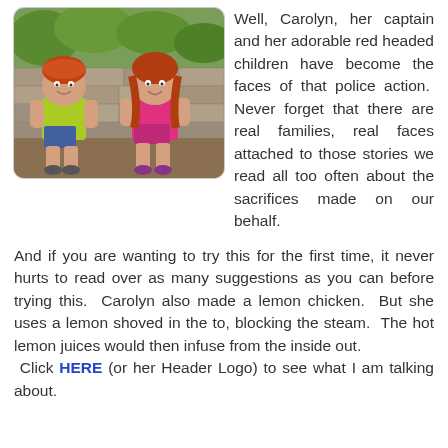[Figure (photo): Two red-headed young children sitting outdoors on stone steps in front of a stone wall with greenery. The boy on the left wears a yellow-green t-shirt and shorts; the girl on the right wears a pink t-shirt.]
Well, Carolyn, her captain and her adorable red headed children have become the faces of that police action.  Never forget that there are real families, real faces attached to those stories we read all too often about the sacrifices made on our behalf.
And if you are wanting to try this for the first time, it never hurts to read over as many suggestions as you can before trying this.  Carolyn also made a lemon chicken.  But she uses a lemon shoved in the to, blocking the steam.  The hot lemon juices would then infuse from the inside out. Click HERE (or her Header Logo) to see what I am talking about.